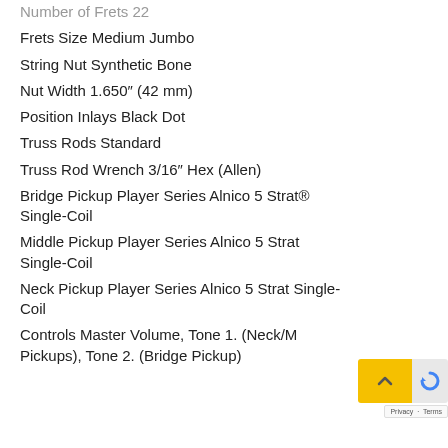Number of Frets 22
Frets Size Medium Jumbo
String Nut Synthetic Bone
Nut Width 1.650″ (42 mm)
Position Inlays Black Dot
Truss Rods Standard
Truss Rod Wrench 3/16″ Hex (Allen)
Bridge Pickup Player Series Alnico 5 Strat® Single-Coil
Middle Pickup Player Series Alnico 5 Strat Single-Coil
Neck Pickup Player Series Alnico 5 Strat Single-Coil
Controls Master Volume, Tone 1. (Neck/Middle Pickups), Tone 2. (Bridge Pickup)